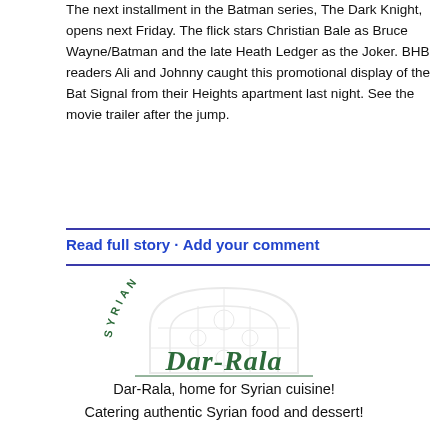The next installment in the Batman series, The Dark Knight, opens next Friday.  The flick stars Christian Bale as Bruce Wayne/Batman and the late Heath Ledger as the Joker.  BHB readers Ali and Johnny caught this promotional display of the Bat Signal from their Heights apartment last night.  See the movie trailer after the jump.
Read full story · Add your comment
[Figure (logo): Dar-Rala Syrian Cuisine logo — a light grey arch/dome building outline with decorative window pattern, with 'SYRIAN CUISINE' text arced around the top in dark green spaced capitals, and 'Dar-Rala' in large dark green cursive script across the center-bottom.]
Dar-Rala, home for Syrian cuisine!
Catering authentic Syrian food and dessert!